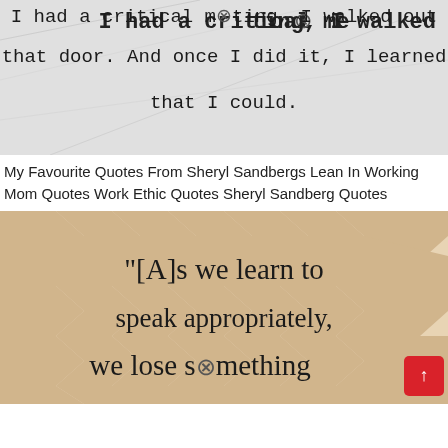[Figure (illustration): Crumpled paper background with handwritten-style text: 'I had a critical meeting, I walked out that door. And once I did it, I learned that I could.']
My Favourite Quotes From Sheryl Sandbergs Lean In Working Mom Quotes Work Ethic Quotes Sheryl Sandberg Quotes
[Figure (illustration): Chevron zigzag pattern background in tan/beige with serif text: '[A]s we learn to speak appropriately, we lose something' with a red scroll-to-top button overlay.]